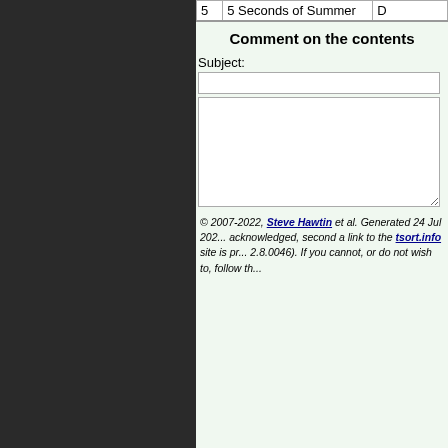| # | Name |  |
| --- | --- | --- |
| 5 | 5 Seconds of Summer | D... |
Comment on the contents
Subject:
© 2007-2022, Steve Hawtin et al. Generated 24 Jul 202... acknowledged, second a link to the tsort.info site is pr... 2.8.0046). If you cannot, or do not wish to, follow th...